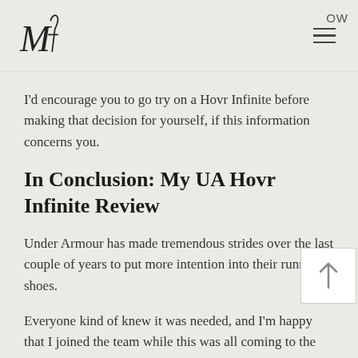Mf [logo] OW
I'd encourage you to go try on a Hovr Infinite before making that decision for yourself, if this information concerns you.
In Conclusion: My UA Hovr Infinite Review
Under Armour has made tremendous strides over the last couple of years to put more intention into their running shoes.
Everyone kind of knew it was needed, and I'm happy that I joined the team while this was all coming to the surface.
Especially with the entire Hovr line: this